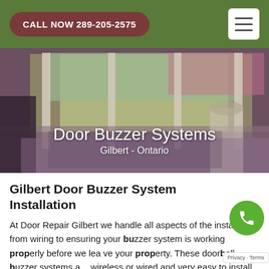CALL NOW 289-205-2575
[Figure (photo): Interior photo showing glass sliding doors opening to an outdoor patio with wooden furniture and flowering plants. Text overlay reads 'Door Buzzer Systems' and 'Gilbert - Ontario'.]
Gilbert Door Buzzer System Installation
At Door Repair Gilbert we handle all aspects of the installation from wiring to ensuring your buzzer system is working properly before we leave your property. These doorbell buzzer systems are wireless or wired and very easy to install. The are installed by the front door of your home in most